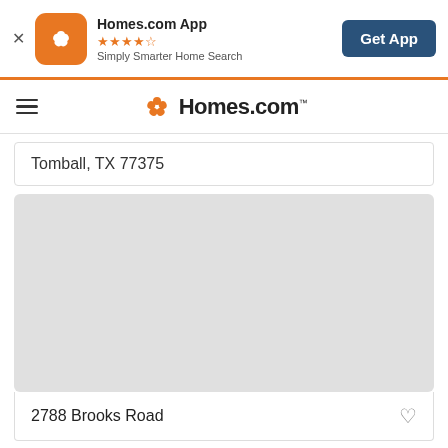[Figure (screenshot): Homes.com app banner with orange icon, star rating, tagline, and Get App button]
[Figure (logo): Homes.com navigation bar with hamburger menu and orange pinwheel logo]
Tomball, TX 77375
[Figure (map): Gray map placeholder area]
2788 Brooks Road